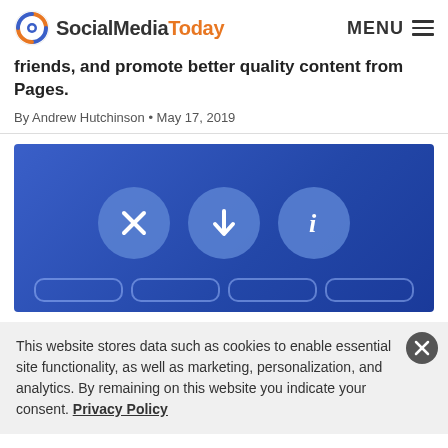SocialMediaToday   MENU
friends, and promote better quality content from Pages.
By Andrew Hutchinson • May 17, 2019
[Figure (illustration): Blue background with three circular buttons showing X (close), down-arrow, and info (i) icons, with outline pill shapes at the bottom representing Facebook News Feed controls.]
This website stores data such as cookies to enable essential site functionality, as well as marketing, personalization, and analytics. By remaining on this website you indicate your consent. Privacy Policy